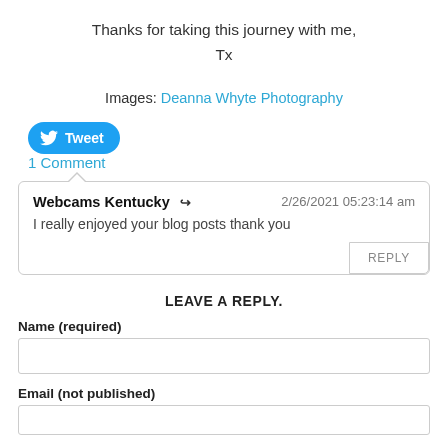Thanks for taking this journey with me,
Tx
Images: Deanna Whyte Photography
[Figure (other): Twitter Tweet button]
1 Comment
Webcams Kentucky → 2/26/2021 05:23:14 am
I really enjoyed your blog posts thank you
LEAVE A REPLY.
Name (required)
Email (not published)